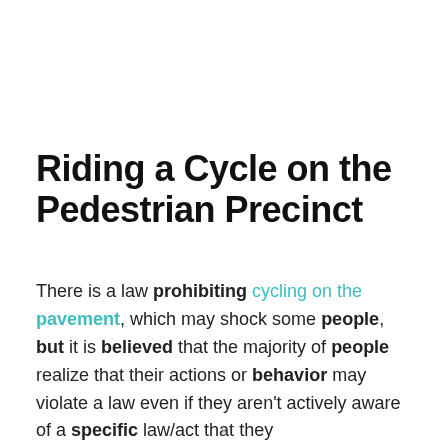Riding a Cycle on the Pedestrian Precinct
There is a law prohibiting cycling on the pavement, which may shock some people, but it is believed that the majority of people realize that their actions or behavior may violate a law even if they aren't actively aware of a specific law/act that they